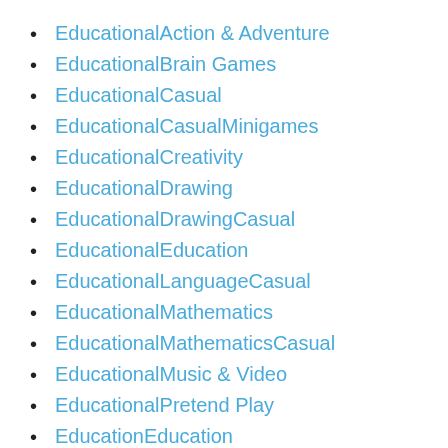EducationalAction & Adventure
EducationalBrain Games
EducationalCasual
EducationalCasualMinigames
EducationalCreativity
EducationalDrawing
EducationalDrawingCasual
EducationalEducation
EducationalLanguageCasual
EducationalMathematics
EducationalMathematicsCasual
EducationalMusic & Video
EducationalPretend Play
EducationEducation
Entertainment
Events
Finance